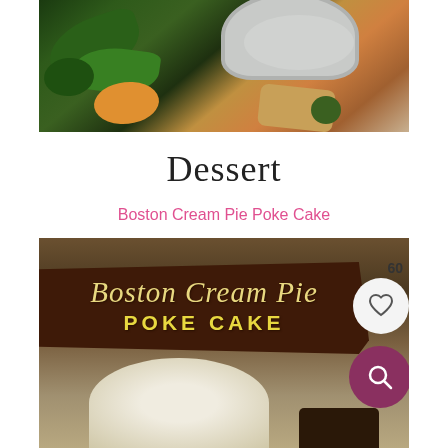[Figure (photo): Food photo showing green jalapeño peppers, a white bowl, orange slices, and pieces of bread on a surface]
Dessert
Boston Cream Pie Poke Cake
[Figure (photo): Photo of Boston Cream Pie Poke Cake with a dark brown ribbon banner displaying the text 'Boston Cream Pie POKE CAKE' in yellow/cream lettering, with a white heart button showing '60' and a purple search button]